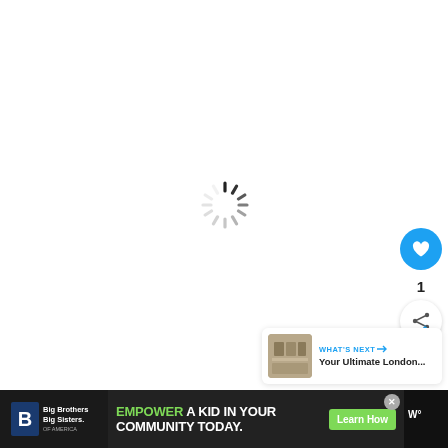[Figure (screenshot): White page with a spinning loading indicator (spinner) centered slightly above middle of the page]
[Figure (screenshot): Blue circular heart/like button showing count of 1, and a share button below it, positioned at the right side]
[Figure (screenshot): What's Next panel with thumbnail image and text 'WHAT'S NEXT → Your Ultimate London...']
[Figure (screenshot): Advertisement banner at bottom: Big Brothers Big Sisters logo, 'EMPOWER A KID IN YOUR COMMUNITY TODAY.' with Learn How button, close X, and Wealthsimple logo]